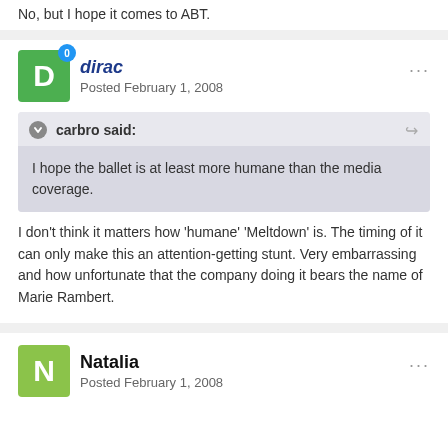No, but I hope it comes to ABT.
dirac
Posted February 1, 2008
carbro said:
I hope the ballet is at least more humane than the media coverage.
I don't think it matters how 'humane' 'Meltdown' is. The timing of it can only make this an attention-getting stunt. Very embarrassing and how unfortunate that the company doing it bears the name of Marie Rambert.
Natalia
Posted February 1, 2008